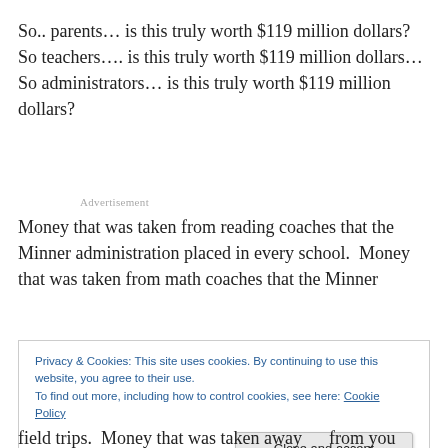So.. parents… is this truly worth $119 million dollars?  So teachers…. is this truly worth $119 million dollars… So administrators… is this truly worth $119 million dollars?
Advertisement
Money that was taken from reading coaches that the Minner administration placed in every school.  Money that was taken from math coaches that the Minner
Privacy & Cookies: This site uses cookies. By continuing to use this website, you agree to their use.
To find out more, including how to control cookies, see here: Cookie Policy
field trips.  Money that was taken away      from you